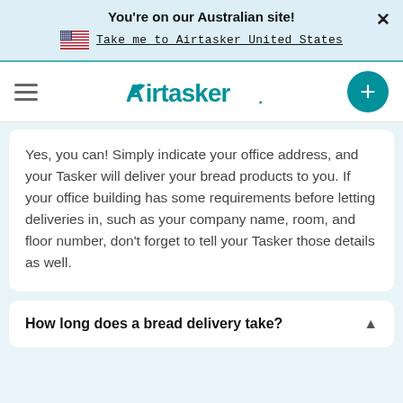You're on our Australian site!
Take me to Airtasker United States
[Figure (logo): Airtasker logo with hamburger menu and plus button]
Yes, you can! Simply indicate your office address, and your Tasker will deliver your bread products to you. If your office building has some requirements before letting deliveries in, such as your company name, room, and floor number, don't forget to tell your Tasker those details as well.
How long does a bread delivery take?